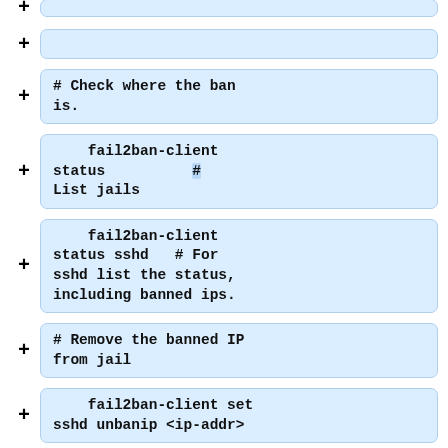(empty code box - top)
# Check where the ban is.
fail2ban-client status          # List jails
fail2ban-client status sshd   # For sshd list the status, including banned ips.
# Remove the banned IP from jail
fail2ban-client set sshd unbanip <ip-addr>
(empty code box - bottom)
== Reloading ==